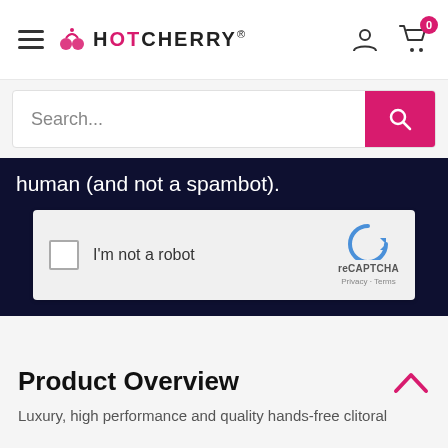HotCherry®
[Figure (screenshot): Search bar with pink search button and reCAPTCHA widget on dark background. reCAPTCHA shows checkbox labeled 'I'm not a robot' with reCAPTCHA logo and 'Privacy · Terms' text.]
human (and not a spambot).
Product Overview
Luxury, high performance and quality hands-free clitoral